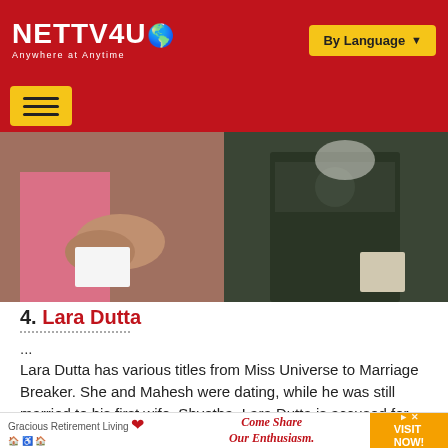NETTV4U — Anywhere at Anytime | By Language
[Figure (photo): Two people standing together, one wearing pink traditional dress on the left, one wearing dark embroidered outfit on the right, both holding papers]
4. Lara Dutta
...
Lara Dutta has various titles from Miss Universe to Marriage Breaker. She and Mahesh were dating, while he was still married to his first wife, Shvetha. Lara Dutta is accused for breaking a happily married life.
[Figure (photo): Bottom photo strip partially visible]
[Figure (other): Advertisement banner: Gracious Retirement Living — Come Share Our Enthusiasm. VISIT NOW!]